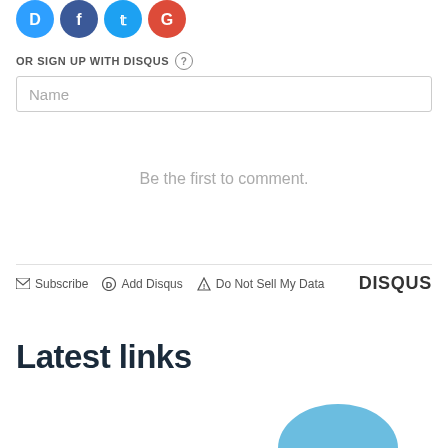[Figure (illustration): Social login icons: Disqus (blue circle with D), Facebook (dark blue circle with f), Twitter (light blue circle with bird), Google (red circle with G)]
OR SIGN UP WITH DISQUS ?
Name
Be the first to comment.
Subscribe  Add Disqus  Do Not Sell My Data  DISQUS
Latest links
[Figure (illustration): Partial blue rounded shape visible at bottom right of page]